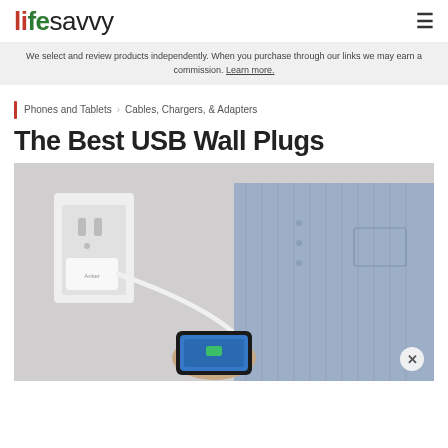lifesavvy
We select and review products independently. When you purchase through our links we may earn a commission. Learn more.
Phones and Tablets > Cables, Chargers, & Adapters
The Best USB Wall Plugs
[Figure (photo): A person holding a smartphone connected to a white USB wall plug charger plugged into a wall outlet]